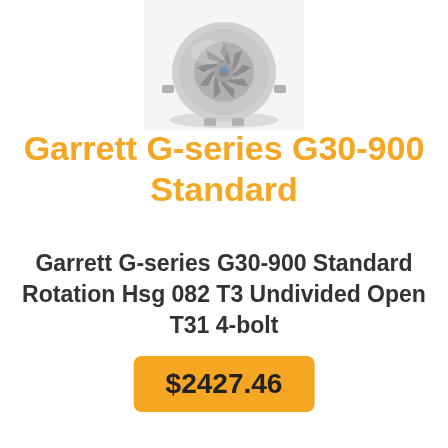[Figure (photo): Partial view of a Garrett G-series G30-900 turbocharger, showing the compressor housing and wheel from above, silver/gray metallic finish, cropped at top of page.]
Garrett G-series G30-900 Standard
Garrett G-series G30-900 Standard Rotation Hsg 082 T3 Undivided Open T31 4-bolt
$2427.46